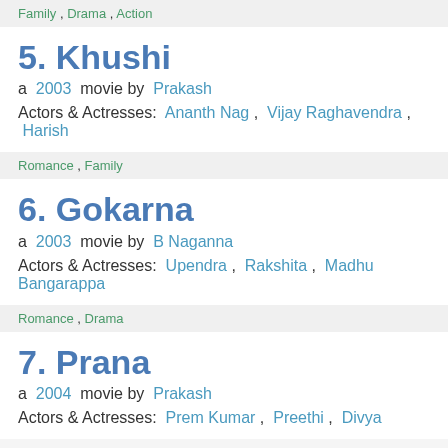Family , Drama , Action
5.  Khushi
a  2003  movie by  Prakash
Actors & Actresses:  Ananth Nag ,  Vijay Raghavendra ,  Harish
Romance ,  Family
6.  Gokarna
a  2003  movie by  B Naganna
Actors & Actresses:  Upendra ,  Rakshita ,  Madhu Bangarappa
Romance ,  Drama
7.  Prana
a  2004  movie by  Prakash
Actors & Actresses:  Prem Kumar ,  Preethi ,  Divya